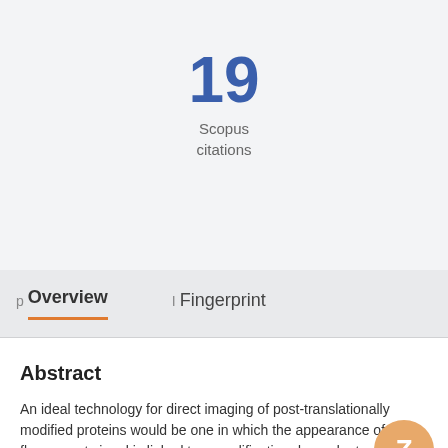19
Scopus citations
p Overview   I Fingerprint
Abstract
An ideal technology for direct imaging of post-translationally modified proteins would be one in which the appearance of a fluorescent signal is linked to a modification dependent